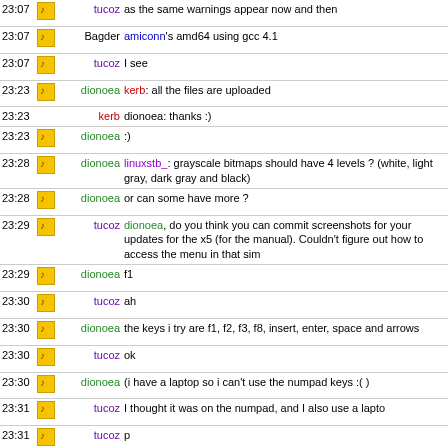| time | icon | name | message |
| --- | --- | --- | --- |
| 23:07 | icon | tucoz | as the same warnings appear now and then |
| 23:07 | icon | Bagder | amiconn's amd64 using gcc 4.1 |
| 23:07 | icon | tucoz | I see |
| 23:23 | icon | dionoea | kerb: all the files are uploaded |
| 23:23 |  | kerb | dionoea: thanks :) |
| 23:23 | icon | dionoea | :) |
| 23:28 | icon | dionoea | linuxstb_: grayscale bitmaps should have 4 levels ? (white, light gray, dark gray and black) |
| 23:28 | icon | dionoea | or can some have more ? |
| 23:29 | icon | tucoz | dionoea, do you think you can commit screenshots for your updates for the x5 (for the manual). Couldn't figure out how to access the menu in that sim |
| 23:29 | icon | dionoea | f1 |
| 23:30 | icon | tucoz | ah |
| 23:30 | icon | dionoea | the keys i try are f1, f2, f3, f8, insert, enter, space and arrows |
| 23:30 | icon | tucoz | ok |
| 23:30 | icon | dionoea | (i have a laptop so i can't use the numpad keys :( ) |
| 23:31 | icon | tucoz | I thought it was on the numpad, and I also use a lapto |
| 23:31 | icon | tucoz | p |
| 23:33 |  | linuxstb_ | dionoea: The LCDs only support 4 levels, but the .bmp files you commit to CVS can be up to 24-bit - bmp2rb is used to convert them to the native format as part of the build process. |
| 23:34 | icon | dionoea | ok. and the function used to display them is lcd_bitmap_part ? (like for color bitmaps ?) |